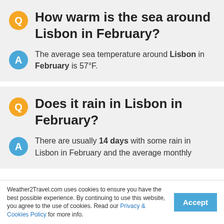How warm is the sea around Lisbon in February?
The average sea temperature around Lisbon in February is 57°F.
Does it rain in Lisbon in February?
There are usually 14 days with some rain in Lisbon in February and the average monthly...
Weather2Travel.com uses cookies to ensure you have the best possible experience. By continuing to use this website, you agree to the use of cookies. Read our Privacy & Cookies Policy for more info.